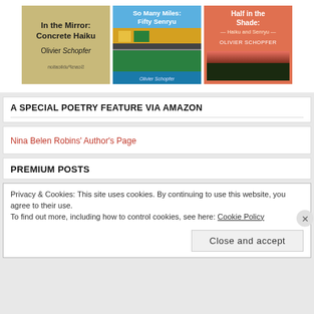[Figure (illustration): Three book covers side by side: 'In the Mirror: Concrete Haiku' by Olivier Schopfer (Scars Publications), 'So Many Miles: Fifty Senryu' by Olivier Schopfer, and a third book 'Half in the Shade: Haiku and Senryu' by Olivier Schopfer.]
A SPECIAL POETRY FEATURE VIA AMAZON
Nina Belen Robins' Author's Page
PREMIUM POSTS
Privacy & Cookies: This site uses cookies. By continuing to use this website, you agree to their use.
To find out more, including how to control cookies, see here: Cookie Policy
Close and accept